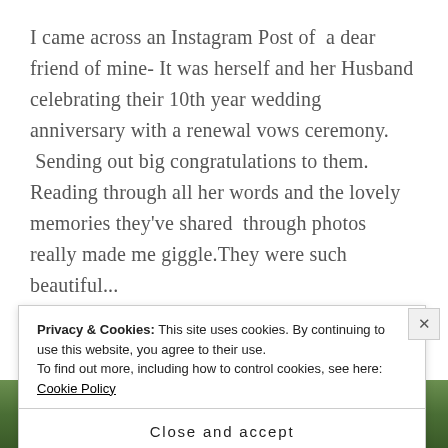I came across an Instagram Post of  a dear friend of mine- It was herself and her Husband celebrating their 10th year wedding anniversary with a renewal vows ceremony.  Sending out big congratulations to them. Reading through all her words and the lovely memories they've shared  through photos really made me giggle.They were such beautiful...
READ MORE
[Figure (photo): Green foliage/trees background photo strip]
Privacy & Cookies: This site uses cookies. By continuing to use this website, you agree to their use.
To find out more, including how to control cookies, see here: Cookie Policy
Close and accept